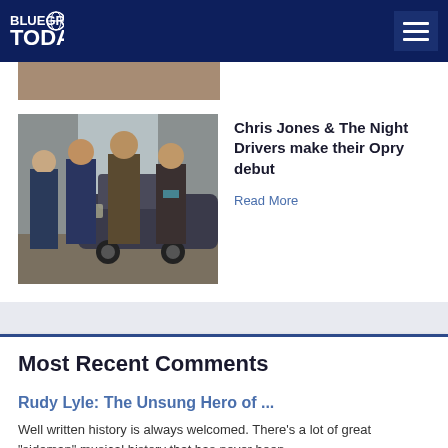Bluegrass Today
[Figure (photo): Partial photo of a group, cropped at top]
[Figure (photo): Four musicians in vintage attire posing in front of an old automobile — Chris Jones & The Night Drivers]
Chris Jones & The Night Drivers make their Opry debut
Read More
Most Recent Comments
Rudy Lyle: The Unsung Hero of ...
Well written history is always welcomed. There's a lot of great "sideman" musical history that has never been ...
Kevin L. - Aug 27, 2022